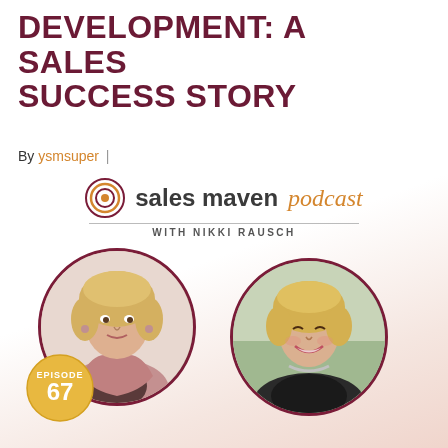DEVELOPMENT: A SALES SUCCESS STORY
By ysmsuper |
[Figure (logo): Sales Maven Podcast logo with circular swirl icon, text 'sales maven podcast with Nikki Rausch']
[Figure (photo): Two circular portrait photos of women, left woman in pink blazer with blonde hair, right woman in dark top with blonde hair and silver necklace]
EPISODE 67